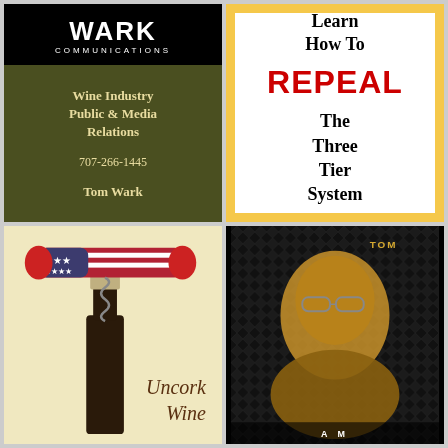[Figure (logo): Wark Communications logo in black box with white text, followed by olive green business card panel reading: Wine Industry Public & Media Relations, 707-266-1445, Tom Wark]
[Figure (infographic): Yellow-bordered white box with text: Learn How To REPEAL (red bold) The Three Tier System, with a red dot at bottom]
[Figure (illustration): Uncork Wine book cover with patriotic corkscrew on wine bottle against cream background]
[Figure (photo): Black and gold toned portrait photo of Tom Wark with TOM text label, dark background with diamond plate texture]